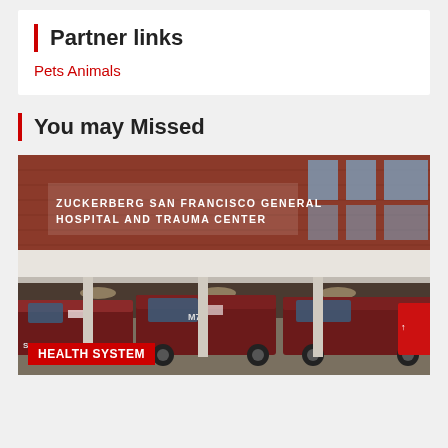Partner links
Pets Animals
You may Missed
[Figure (photo): Exterior of Zuckerberg San Francisco General Hospital and Trauma Center, with several dark red SFFD ambulances (including unit M74) parked out front under a canopy. A red badge reading HEALTH SYSTEM appears at the bottom left of the image.]